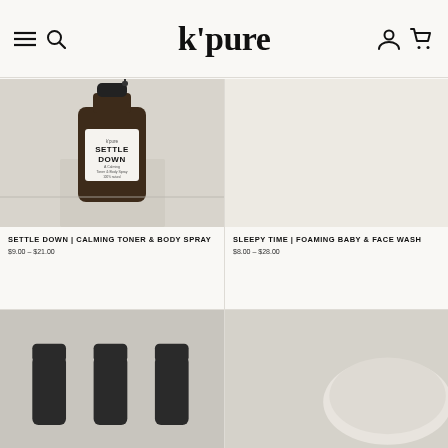k'pure — navigation header with hamburger menu, search, logo, user account, cart icons
[Figure (photo): Amber spray bottle with white label reading SETTLE DOWN, a calming toner & body spray, against a light stone background]
SETTLE DOWN | CALMING TONER & BODY SPRAY
$9.00 – $21.00
[Figure (photo): White/blank product image background for Sleepy Time Foaming Baby & Face Wash]
SLEEPY TIME | FOAMING BABY & FACE WASH
$8.00 – $28.00
[Figure (photo): Partial product photo showing dark small bottles on grey surface — bottom left product]
[Figure (photo): Partial product photo showing a round object on grey/white surface — bottom right product]